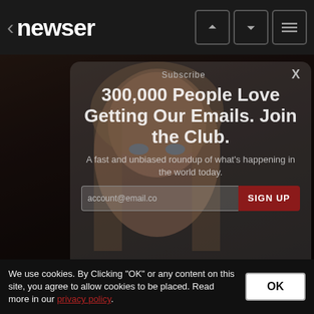< newser
[Figure (screenshot): Modal overlay on news website showing email signup prompt: '300,000 People Love Getting Our Emails. Join the Club.' with subtitle 'A fast and unbiased roundup of what's happening in the world today.' and a SIGN UP button. Background shows a woman's face (Rosie Huntington-Whiteley style).]
Rosie Started Out At The Tender Age Of 19: Remember Her In 2006?
We use cookies. By Clicking "OK" or any content on this site, you agree to allow cookies to be placed. Read more in our privacy policy.